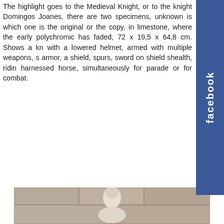The highlight goes to the Medieval Knight, or to the knight Domingos Joanes, there are two specimens, unknown is which one is the original or the copy, in limestone, where the early polychromic has faded, 72 x 19,5 x 64,8 cm. Shows a knight with a lowered helmet, armed with multiple weapons, s armor, a shield, spurs, sword on shield shealth, riding harnessed horse, simultaneously for parade or for combat.
[Figure (photo): Stone sculpture of a medieval knight on horseback, set into a limestone wall. The knight wears a helmet with visor down and is shown in full armor. The horse's head is visible below. The background shows large stone block masonry.]